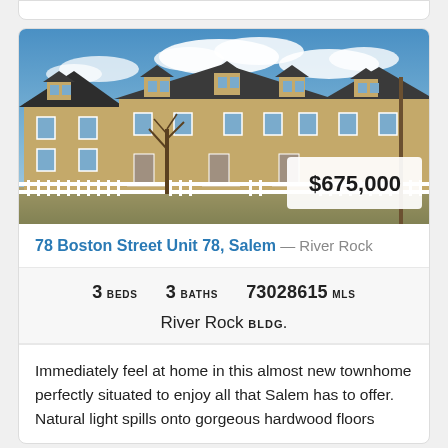[Figure (photo): Exterior photo of a multi-unit tan/beige townhome complex with dark roofs, dormers, white trim, white picket fence, and bare trees in winter. Blue sky with clouds in background.]
$675,000
78 Boston Street Unit 78, Salem — River Rock
3 BEDS   3 BATHS   73028615 MLS
River Rock BLDG.
Immediately feel at home in this almost new townhome perfectly situated to enjoy all that Salem has to offer. Natural light spills onto gorgeous hardwood floors